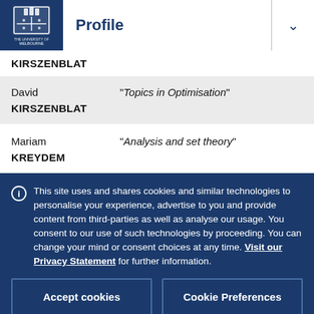Profile
KIRSZENBLAT
David KIRSZENBLAT — "Topics in Optimisation"
Mariam KREYDEM — "Analysis and set theory"
This site uses and shares cookies and similar technologies to personalise your experience, advertise to you and provide content from third-parties as well as analyse our usage. You consent to our use of such technologies by proceeding. You can change your mind or consent choices at any time. Visit our Privacy Statement for further information.
Accept cookies
Cookie Preferences